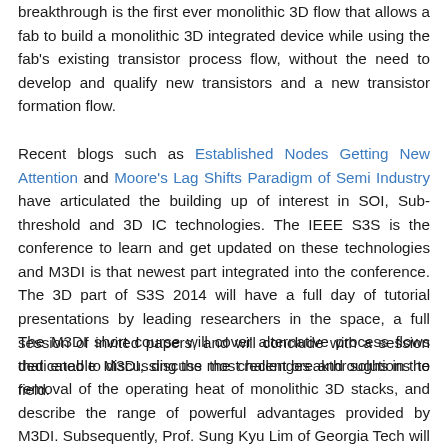breakthrough is the first ever monolithic 3D flow that allows a fab to build a monolithic 3D integrated device while using the fab's existing transistor process flow, without the need to develop and qualify new transistors and a new transistor formation flow.
Recent blogs such as Established Nodes Getting New Attention and Moore's Lag Shifts Paradigm of Semi Industry have articulated the building up of interest in SOI, Sub-threshold and 3D IC technologies. The IEEE S3S is the conference to learn and get updated on these technologies and M3DI is that newest part integrated into the conference. The 3D part of S3S 2014 will have a full day of tutorial presentations by leading researchers in the space, a full session of invited papers, and will conclude with a session dedicated to discussing the most recent breakthroughs in the field.
The M3DI short course will cover alternative process flows that enable M3DI, discuss the challenges and solutions to removal of the operating heat of monolithic 3D stacks, and describe the range of powerful advantages provided by M3DI. Subsequently, Prof. Sung Kyu Lim of Georgia Tech will cover EDA for M3DI. This will be followed by